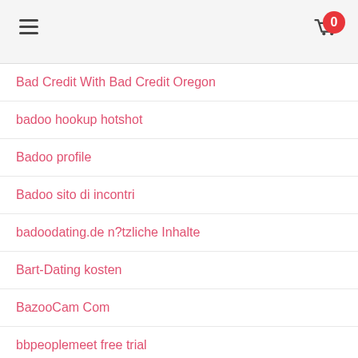Navigation menu with hamburger icon and cart with 0 items
Bad Credit With Bad Credit Oregon
badoo hookup hotshot
Badoo profile
Badoo sito di incontri
badoodating.de n?tzliche Inhalte
Bart-Dating kosten
BazooCam Com
bbpeoplemeet free trial
bbpeoplemeet login
bbpeoplemeet profile examples
bbpeoplemeet search